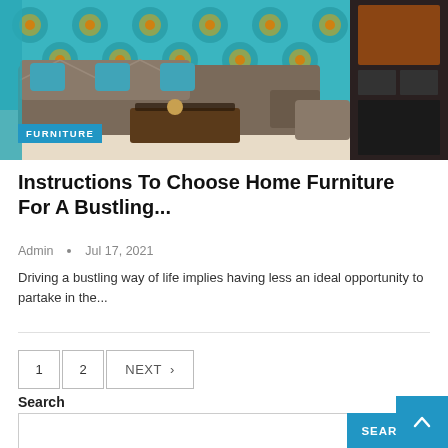[Figure (photo): Interior room photo showing a brown L-shaped sofa with blue/teal cushions against a decorative teal and gold patterned wallpaper, with a glass-top coffee table. On the right side, a dark wood entertainment unit with shelves and cabinets.]
Instructions To Choose Home Furniture For A Bustling...
Admin • Jul 17, 2021
Driving a bustling way of life implies having less an ideal opportunity to partake in the...
1  2  NEXT >
Search
SEARCH